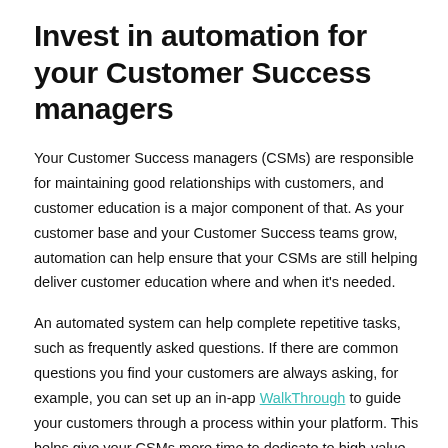Invest in automation for your Customer Success managers
Your Customer Success managers (CSMs) are responsible for maintaining good relationships with customers, and customer education is a major component of that. As your customer base and your Customer Success teams grow, automation can help ensure that your CSMs are still helping deliver customer education where and when it's needed.
An automated system can help complete repetitive tasks, such as frequently asked questions. If there are common questions you find your customers are always asking, for example, you can set up an in-app WalkThrough to guide your customers through a process within your platform. This helps give your CSMs more time to dedicate to high-value customer interactions that may need their undivided attention.